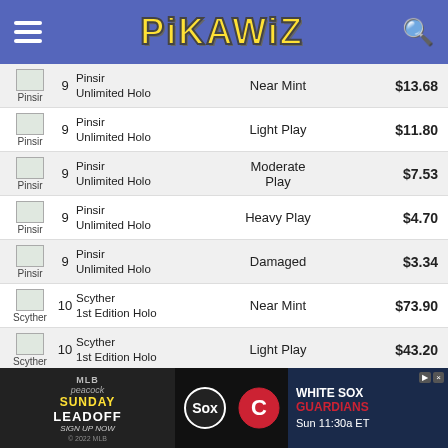PikaWiz
| Image | # | Card | Condition | Price |
| --- | --- | --- | --- | --- |
| Pinsir | 9 | Pinsir Unlimited Holo | Near Mint | $13.68 |
| Pinsir | 9 | Pinsir Unlimited Holo | Light Play | $11.80 |
| Pinsir | 9 | Pinsir Unlimited Holo | Moderate Play | $7.53 |
| Pinsir | 9 | Pinsir Unlimited Holo | Heavy Play | $4.70 |
| Pinsir | 9 | Pinsir Unlimited Holo | Damaged | $3.34 |
| Scyther | 10 | Scyther 1st Edition Holo | Near Mint | $73.90 |
| Scyther | 10 | Scyther 1st Edition Holo | Light Play | $43.20 |
| Scyther | 10 | Scyther 1st Edition Holo | Moderate Play | $26.31 |
| Scyther | 10 | Scyther 1st Edition Holo | Heavy Play | $15.80 |
| Scyther | 10 | Scyther 1st Edition Holo | Damaged | $15.78 |
| Scyther | 10 | Scyther ... |  |  |
[Figure (infographic): Peacock Sunday Leadoff MLB advertisement banner with White Sox vs Guardians, Sun 11:30a ET]